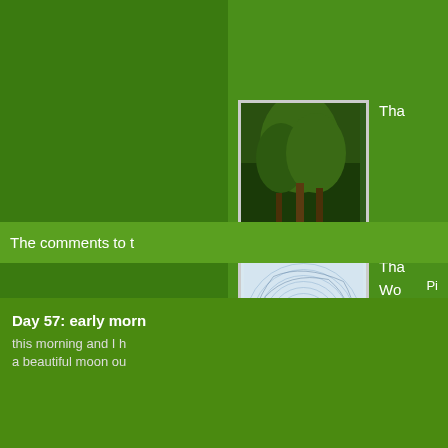[Figure (photo): Thumbnail of a tree/forest scene in a white-bordered frame]
Tha
[Figure (illustration): Thumbnail of a spiral geometric pattern with concentric circles on light blue background]
Tha
Wo
Co
The comments to t
Pi
Day 57: early morn
this morning and I h
a beautiful moon ou